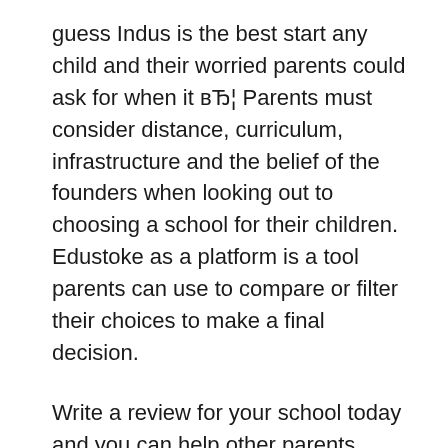guess Indus is the best start any child and their worried parents could ask for when it вЂ¦ Parents must consider distance, curriculum, infrastructure and the belief of the founders when looking out to choosing a school for their children. Edustoke as a platform is a tool parents can use to compare or filter their choices to make a final decision.
Write a review for your school today and you can help other parents make a more informed choice about which school is right for their family. School Reviews; Review your school! A parent at Noah Webster Academy in Orem, UT said: " Our daughter has made leaps and bounds academically, and socially. My past school is